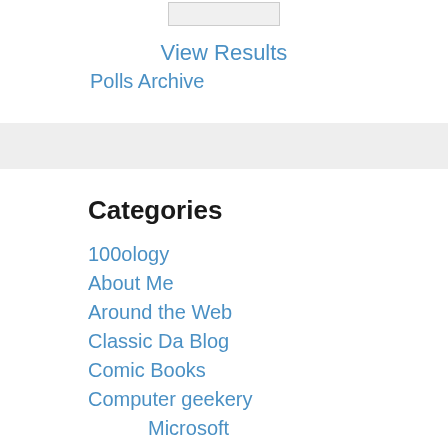[Figure (other): Vote button widget (form input button)]
View Results
Polls Archive
Categories
100ology
About Me
Around the Web
Classic Da Blog
Comic Books
Computer geekery
Microsoft